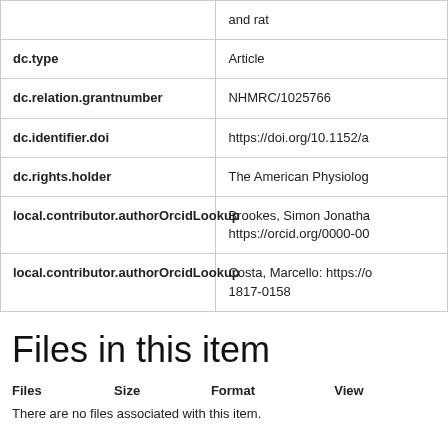| Field | Value |
| --- | --- |
|  | and rat |
| dc.type | Article |
| dc.relation.grantnumber | NHMRC/1025766 |
| dc.identifier.doi | https://doi.org/10.1152/a |
| dc.rights.holder | The American Physiolog |
| local.contributor.authorOrcidLookup | Brookes, Simon Jonatha
https://orcid.org/0000-00 |
| local.contributor.authorOrcidLookup | Costa, Marcello: https://o
1817-0158 |
Files in this item
| Files | Size | Format | View |
| --- | --- | --- | --- |
There are no files associated with this item.